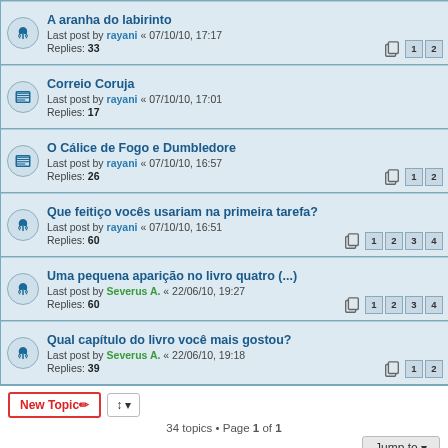A aranha do labirinto — Last post by rayani « 07/10/10, 17:17 — Replies: 33 — Pages: 1 2
Correio Coruja — Last post by rayani « 07/10/10, 17:01 — Replies: 17
O Cálice de Fogo e Dumbledore — Last post by rayani « 07/10/10, 16:57 — Replies: 26 — Pages: 1 2
Que feitiço vocês usariam na primeira tarefa? — Last post by rayani « 07/10/10, 16:51 — Replies: 60 — Pages: 1 2 3 4
Uma pequena aparição no livro quatro (...) — Last post by Severus A. « 22/06/10, 19:27 — Replies: 60 — Pages: 1 2 3 4
Qual capítulo do livro você mais gostou? — Last post by Severus A. « 22/06/10, 19:18 — Replies: 39 — Pages: 1 2
34 topics • Page 1 of 1